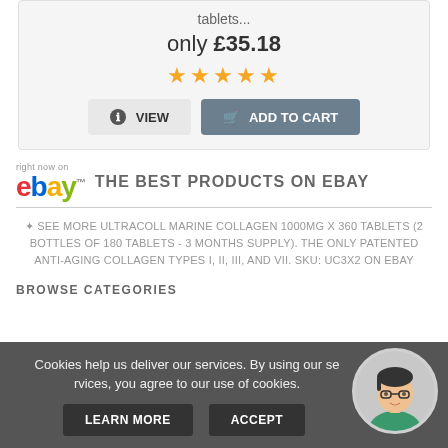tablets...
only £35.18
[Figure (other): Five gold star rating]
VIEW  ADD TO CART
THE BEST PRODUCTS ON EBAY
✦ SEE MORE ULTRACOLL MARINE COLLAGEN 1000MG X 360 TABLETS (2 BOTTLES OF 180 TABLETS - 3 MONTHS SUPPLY). THE ONLY PATENTED ANTI-AGING COLLAGEN TYPES I, II, III, AND VII. SKU: UC3X2 ON EBAY
BROWSE CATEGORIES
Cookies help us deliver our services. By using our services, you agree to our use of cookies.
LEARN MORE  ACCEPT